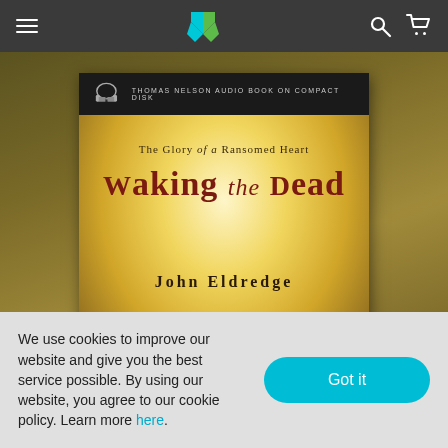Navigation bar with hamburger menu, logo, search and cart icons
[Figure (photo): Book cover of 'Waking the Dead: The Glory of a Ransomed Heart' by John Eldredge, audiobook on compact disk published by Thomas Nelson. Cover features dramatic sky with clouds in golden tones.]
We use cookies to improve our website and give you the best service possible. By using our website, you agree to our cookie policy. Learn more here.